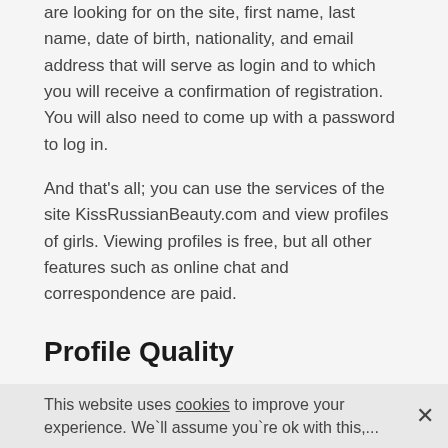are looking for on the site, first name, last name, date of birth, nationality, and email address that will serve as login and to which you will receive a confirmation of registration. You will also need to come up with a password to log in.
And that's all; you can use the services of the site KissRussianBeauty.com and view profiles of girls. Viewing profiles is free, but all other features such as online chat and correspondence are paid.
Profile Quality
It worth to mention that the site presents profiles of women of different ages who have different values in life, different hobbies, so the choice is quite wide. As the site examines the official documents of the girls, it seems to us that the profiles on the site are real.
This website uses cookies to improve your experience. We`ll assume you`re ok with this,...